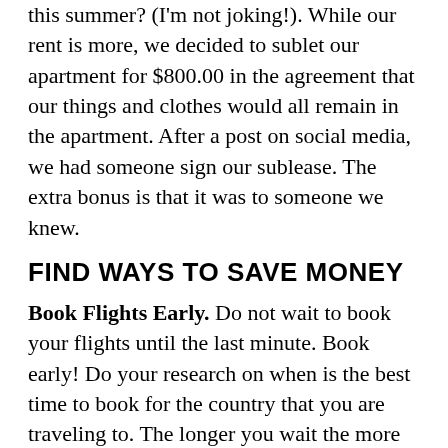this summer? (I'm not joking!). While our rent is more, we decided to sublet our apartment for $800.00 in the agreement that our things and clothes would all remain in the apartment. After a post on social media, we had someone sign our sublease. The extra bonus is that it was to someone we knew.
FIND WAYS TO SAVE MONEY
Book Flights Early. Do not wait to book your flights until the last minute. Book early! Do your research on when is the best time to book for the country that you are traveling to. The longer you wait the more you will pay. Don't be the person who watches your flight price increase as your